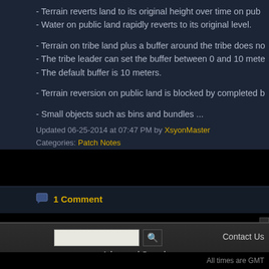- Terrain reverts land to its original height over time on pub...
- Water on public land rapidly reverts to its original level.
- Terrain on tribe land plus a buffer around the tribe does no...
- The tribe leader can set the buffer between 0 and 10 mete...
- The default buffer is 10 meters.
- Terrain reversion on public land is blocked by completed b...
- Small objects such as bins and bundles ...
Updated 06-25-2014 at 07:47 PM by XsyonMaster
Categories: Patch Notes
1 Comment
[Figure (other): Search bar with text input, search button, Advanced Search link, and Contact Us link]
All times are GMT... Powered by... Copyright © 2022 vBulle...